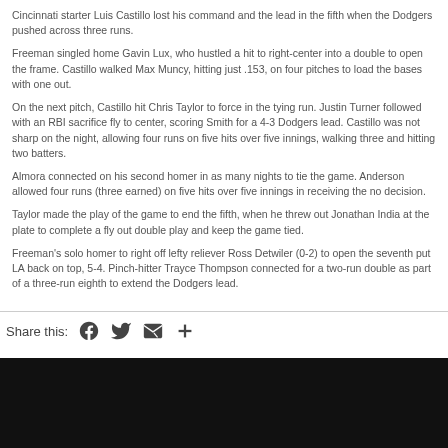Cincinnati starter Luis Castillo lost his command and the lead in the fifth when the Dodgers pushed across three runs.
Freeman singled home Gavin Lux, who hustled a hit to right-center into a double to open the frame. Castillo walked Max Muncy, hitting just .153, on four pitches to load the bases with one out.
On the next pitch, Castillo hit Chris Taylor to force in the tying run. Justin Turner followed with an RBI sacrifice fly to center, scoring Smith for a 4-3 Dodgers lead. Castillo was not sharp on the night, allowing four runs on five hits over five innings, walking three and hitting two batters.
Almora connected on his second homer in as many nights to tie the game. Anderson allowed four runs (three earned) on five hits over five innings in receiving the no decision.
Taylor made the play of the game to end the fifth, when he threw out Jonathan India at the plate to complete a fly out double play and keep the game tied.
Freeman's solo homer to right off lefty reliever Ross Detwiler (0-2) to open the seventh put LA back on top, 5-4. Pinch-hitter Trayce Thompson connected for a two-run double as part of a three-run eighth to extend the Dodgers lead.
Share this: